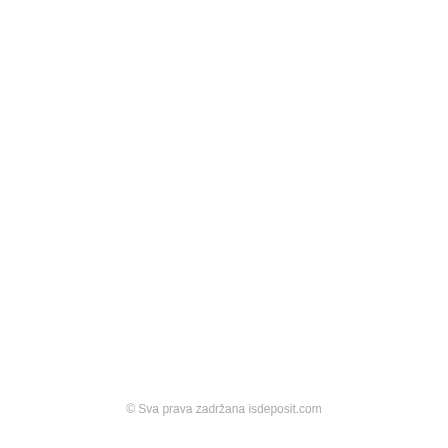© Sva prava zadržana isdeposit.com